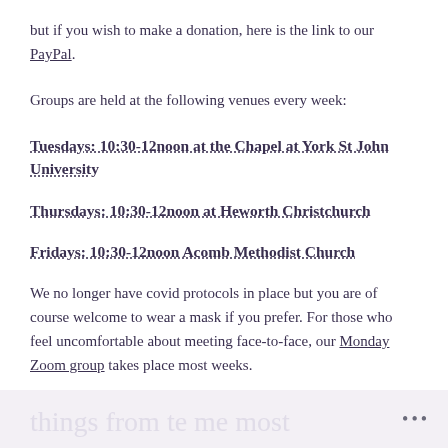but if you wish to make a donation, here is the link to our PayPal.
Groups are held at the following venues every week:
Tuesdays: 10:30-12noon at the Chapel at York St John University
Thursdays: 10:30-12noon at Heworth Christchurch
Fridays: 10:30-12noon Acomb Methodist Church
We no longer have covid protocols in place but you are of course welcome to wear a mask if you prefer. For those who feel uncomfortable about meeting face-to-face, our Monday Zoom group takes place most weeks.
...